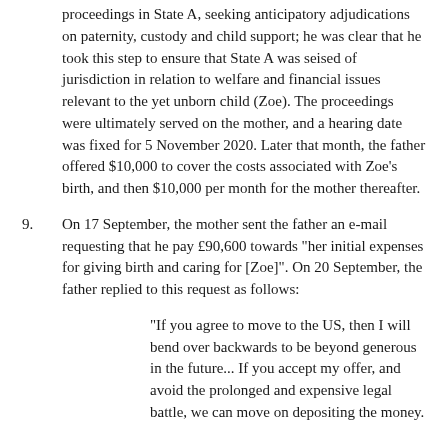proceedings in State A, seeking anticipatory adjudications on paternity, custody and child support; he was clear that he took this step to ensure that State A was seised of jurisdiction in relation to welfare and financial issues relevant to the yet unborn child (Zoe). The proceedings were ultimately served on the mother, and a hearing date was fixed for 5 November 2020. Later that month, the father offered $10,000 to cover the costs associated with Zoe's birth, and then $10,000 per month for the mother thereafter.
9. On 17 September, the mother sent the father an e-mail requesting that he pay £90,600 towards "her initial expenses for giving birth and caring for [Zoe]". On 20 September, the father replied to this request as follows:
"If you agree to move to the US, then I will bend over backwards to be beyond generous in the future... If you accept my offer, and avoid the prolonged and expensive legal battle, we can move on depositing the money.